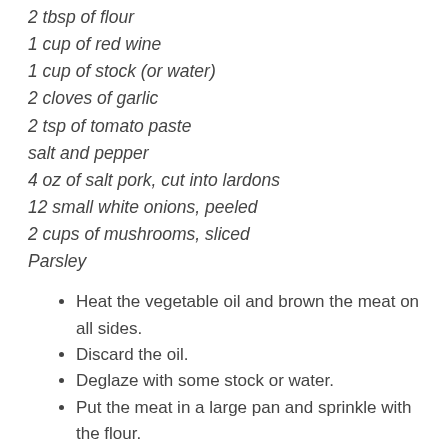2 tbsp of flour
1 cup of red wine
1 cup of stock (or water)
2 cloves of garlic
2 tsp of tomato paste
salt and pepper
4 oz of salt pork, cut into lardons
12 small white onions, peeled
2 cups of mushrooms, sliced
Parsley
Heat the vegetable oil and brown the meat on all sides.
Discard the oil.
Deglaze with some stock or water.
Put the meat in a large pan and sprinkle with the flour.
Stir until brown.